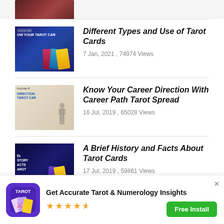[Figure (photo): Partial thumbnail of a tarot-related image at the top, cropped]
Different Types and Use of Tarot Cards
7 Jan, 2021 , 74974 Views
Know Your Career Direction With Career Path Tarot Spread
16 Jul, 2019 , 65028 Views
A Brief History and Facts About Tarot Cards
17 Jul, 2019 , 59861 Views
Get Accurate Tarot & Numerology Insights
★★★★½
Free Install